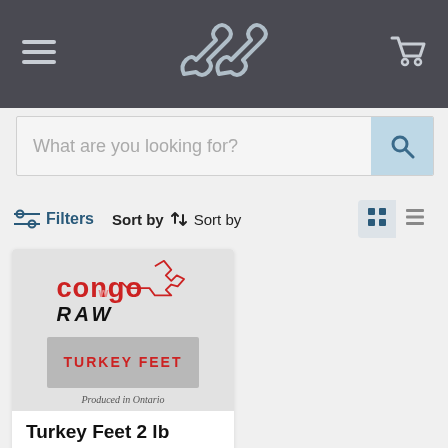[Figure (screenshot): Website header with hamburger menu icon on left, two dog bone icons in center, and shopping cart icon on right, on dark charcoal background]
What are you looking for?
Filters  Sort by  ↓↑  Sort by
[Figure (logo): Congo Raw brand logo with cat silhouette and 'TURKEY FEET' label on grey background, 'Produced in Ontario' text below]
Turkey Feet 2 lb
Congo
$8.99